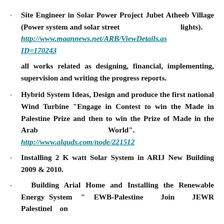Site Engineer in Solar Power Project Jubet Atheeb Village (Power system and solar street lights). http://www.maannews.net/ARB/ViewDetails.as ID=170243
all works related as designing, financial, implementing, supervision and writing the progress reports.
Hybrid System Ideas, Design and produce the first national Wind Turbine "Engage in Contest to win the Made in Palestine Prize and then to win the Prize of Made in the Arab World". http://www.alquds.com/node/221512
Installing 2 K watt Solar System in ARIJ New Building 2009 & 2010.
Building Arial Home and Installing the Renewable Energy System " EWB-Palestine Join JEWR Palestinel on